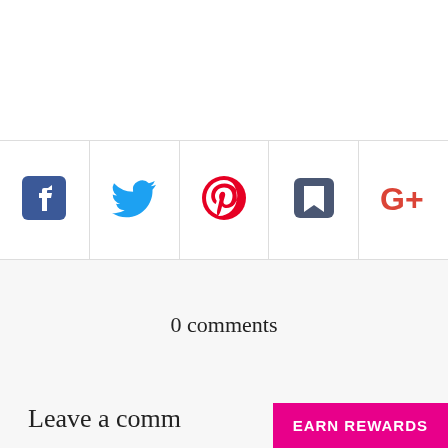[Figure (infographic): Social sharing bar with 5 icons: Facebook (blue), Twitter (blue bird), Pinterest (red circular P), Clipper/bookmark (dark blue square), Google Plus (red G+)]
0 comments
Leave a comm
EARN REWARDS